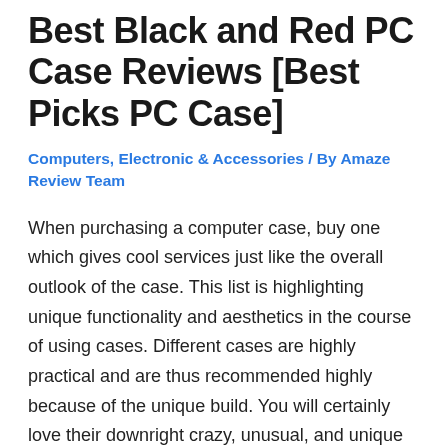Best Black and Red PC Case Reviews [Best Picks PC Case]
Computers, Electronic & Accessories / By Amaze Review Team
When purchasing a computer case, buy one which gives cool services just like the overall outlook of the case. This list is highlighting unique functionality and aesthetics in the course of using cases. Different cases are highly practical and are thus recommended highly because of the unique build. You will certainly love their downright crazy, unusual, and unique services offered by PC best